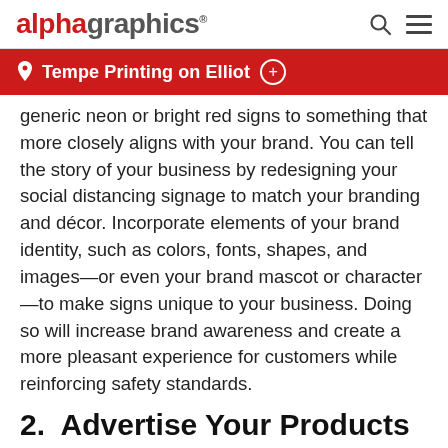alphagraphics
Tempe Printing on Elliot
generic neon or bright red signs to something that more closely aligns with your brand. You can tell the story of your business by redesigning your social distancing signage to match your branding and décor. Incorporate elements of your brand identity, such as colors, fonts, shapes, and images—or even your brand mascot or character—to make signs unique to your business. Doing so will increase brand awareness and create a more pleasant experience for customers while reinforcing safety standards.
2.  Advertise Your Products
Your social distancing signage isn't only good for